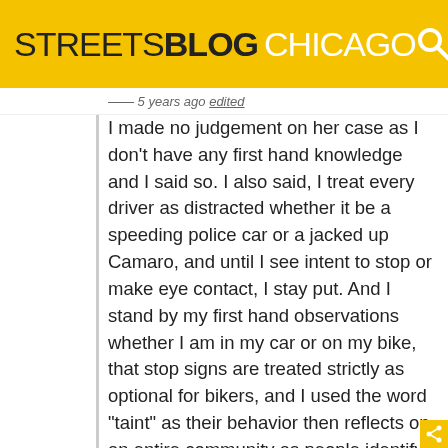STREETSBLOG CHICAGO
5 years ago edited
I made no judgement on her case as I don't have any first hand knowledge and I said so. I also said, I treat every driver as distracted whether it be a speeding police car or a jacked up Camaro, and until I see intent to stop or make eye contact, I stay put. And I stand by my first hand observations whether I am in my car or on my bike, that stop signs are treated strictly as optional for bikers, and I used the word "taint" as their behavior then reflects on an entire community as people identify with what they see the most of. And this one isn't even a close call. I'd put it in the 90% percentile. And I pay specific attention to what other cyclist are doing, so I can envision what others think of me based on the action of the many.
As to your other question, it makes no sense and has no context to this discussion, so I will not start a keyboard war over it. But I drive more than I bike and I also try and differ opinion with...